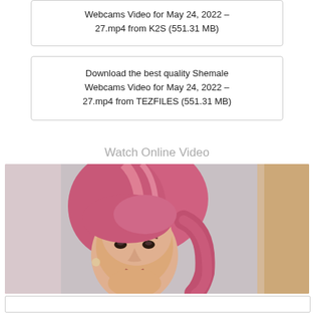Webcams Video for May 24, 2022 – 27.mp4 from K2S (551.31 MB)
Download the best quality Shemale Webcams Video for May 24, 2022 – 27.mp4 from TEZFILES (551.31 MB)
Watch Online Video
[Figure (photo): Video thumbnail showing a person with pink hair looking at the camera, light background with warm tones on the right side.]
[Figure (other): White/light box below the video thumbnail, likely a video player control area.]